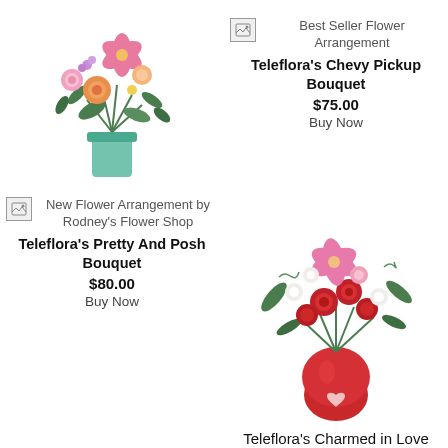[Figure (photo): Flower arrangement in a teal/blue vase with pink lilies, orange roses, and mixed blooms (top left)]
[Figure (photo): Broken image icon for Best Seller Flower Arrangement]
Best Seller Flower Arrangement
Teleflora's Chevy Pickup Bouquet
$75.00
Buy Now
[Figure (photo): Broken image icon for New Flower Arrangement by Rodney's Flower Shop]
New Flower Arrangement by Rodney's Flower Shop
Teleflora's Pretty And Posh Bouquet
$80.00
Buy Now
[Figure (photo): Flower arrangement in a red heart-shaped vase with red roses, pink lilies, white flowers, and greenery]
Teleflora's Charmed in Love Bouquet